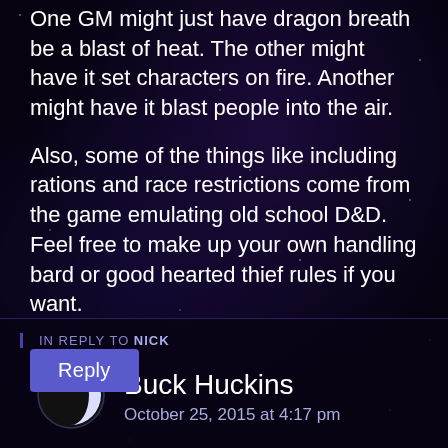One GM might just have dragon breath be a blast of heat. The other might have it set characters on fire. Another might have it blast people into the air.
Also, some of the things like including rations and race restrictions come from the game emulating old school D&D. Feel free to make up your own handling bard or good hearted thief rules if you want.
Reply
IN REPLY TO NICK
Buck Huckins
October 25, 2015 at 4:17 pm